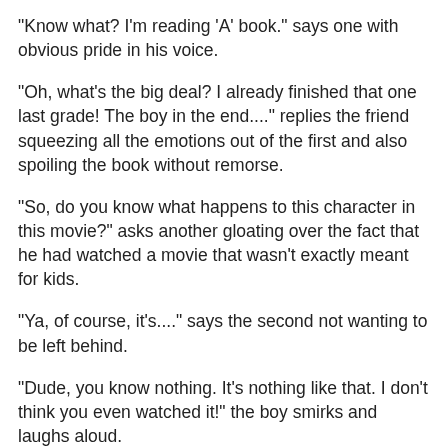"Know what? I'm reading 'A' book." says one with obvious pride in his voice.
"Oh, what's the big deal? I already finished that one last grade! The boy in the end...." replies the friend squeezing all the emotions out of the first and also spoiling the book without remorse.
"So, do you know what happens to this character in this movie?" asks another gloating over the fact that he had watched a movie that wasn't exactly meant for kids.
"Ya, of course, it's...." says the second not wanting to be left behind.
"Dude, you know nothing. It's nothing like that. I don't think you even watched it!" the boy smirks and laughs aloud.
Tender feelings are unceremoniously hurt by one, the victim then generously passes on the baton to another. For, that's how they all learn it. Meanness is more contagious than goodness. Kids being mean and forming cliques is age-old